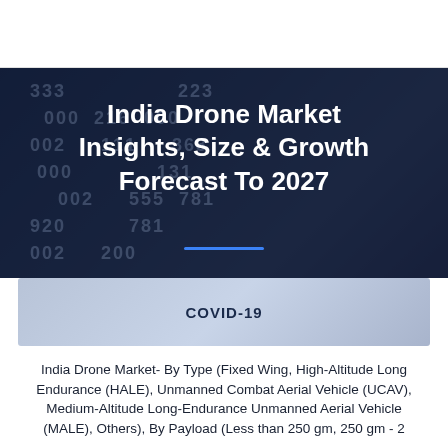SPER Market Research
India Drone Market Insights, Size & Growth Forecast To 2027
COVID-19
India Drone Market- By Type (Fixed Wing, High-Altitude Long Endurance (HALE), Unmanned Combat Aerial Vehicle (UCAV), Medium-Altitude Long-Endurance Unmanned Aerial Vehicle (MALE), Others), By Payload (Less than 250 gm, 250 gm - 2